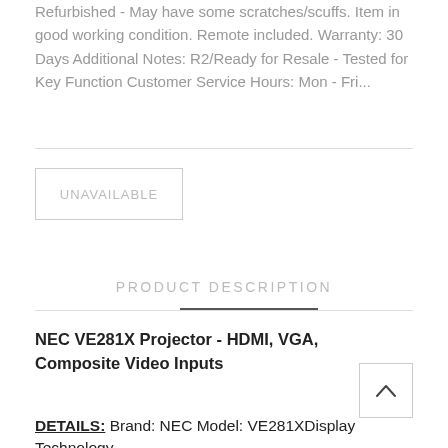Refurbished - May have some scratches/scuffs. Item in good working condition. Remote included. Warranty: 30 Days Additional Notes: R2/Ready for Resale - Tested for Key Function Customer Service Hours: Mon - Fri...
[Figure (other): UNAVAILABLE button - a rectangular outlined button with light gray border and text 'UNAVAILABLE' in light gray uppercase letters]
PRODUCT DESCRIPTION
NEC VE281X Projector - HDMI, VGA, Composite Video Inputs
[Figure (other): Chevron up (caret) icon inside a square bordered button]
DETAILS: Brand: NEC Model: VE281XDisplay Technology...